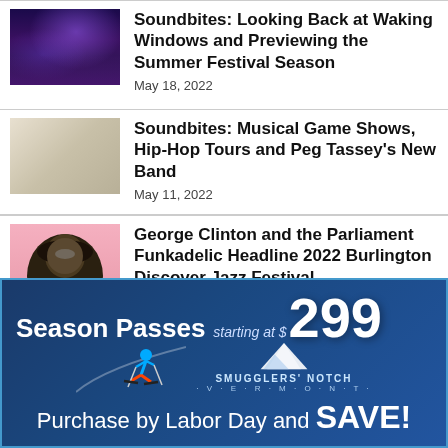[Figure (photo): Concert crowd photo with purple stage lighting]
Soundbites: Looking Back at Waking Windows and Previewing the Summer Festival Season
May 18, 2022
[Figure (photo): Group photo of band members including person in green scarf and yellow outfit]
Soundbites: Musical Game Shows, Hip-Hop Tours and Peg Tassey's New Band
May 11, 2022
[Figure (photo): George Clinton portrait photo on pink background]
George Clinton and the Parliament Funkadelic Headline 2022 Burlington Discover Jazz Festival
[Figure (infographic): Smugglers' Notch Vermont advertisement: Season Passes starting at $299, Purchase by Labor Day and SAVE!]